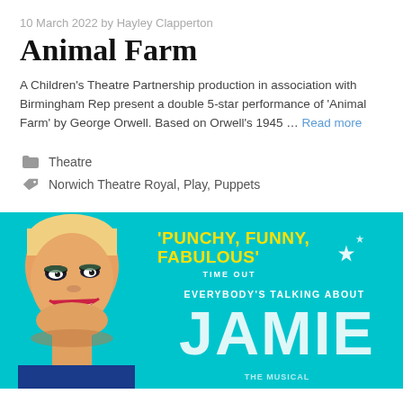10 March 2022 by Hayley Clapperton
Animal Farm
A Children's Theatre Partnership production in association with Birmingham Rep present a double 5-star performance of 'Animal Farm' by George Orwell. Based on Orwell's 1945 … Read more
Theatre
Norwich Theatre Royal, Play, Puppets
[Figure (photo): Promotional banner for 'Everybody's Talking About Jamie' musical on a teal/cyan background. Features a performer with short blonde hair and dramatic makeup. Text reads: 'PUNCHY, FUNNY, FABULOUS' TIME OUT / EVERYBODY'S TALKING ABOUT JAMIE]